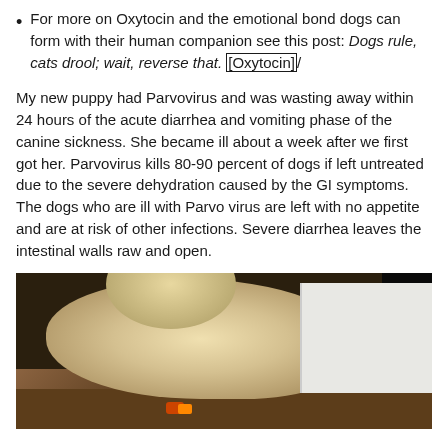For more on Oxytocin and the emotional bond dogs can form with their human companion see this post: Dogs rule, cats drool; wait, reverse that. [Oxytocin]/
My new puppy had Parvovirus and was wasting away within 24 hours of the acute diarrhea and vomiting phase of the canine sickness. She became ill about a week after we first got her. Parvovirus kills 80-90 percent of dogs if left untreated due to the severe dehydration caused by the GI symptoms. The dogs who are ill with Parvo virus are left with no appetite and are at risk of other infections. Severe diarrhea leaves the intestinal walls raw and open.
[Figure (photo): A light-colored dog (appears yellow/cream colored) lying on a tiled floor next to a white appliance or heater, photographed from above]